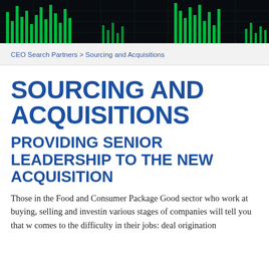[Figure (illustration): Dark background header image with green bar chart / stock market visualization pattern]
CEO Search Partners > Sourcing and Acquisitions
SOURCING AND ACQUISITIONS
PROVIDING SENIOR LEADERSHIP TO THE NEW ACQUISITION
Those in the Food and Consumer Package Good sector who work at buying, selling and investing various stages of companies will tell you that w comes to the difficulty in their jobs: deal origination